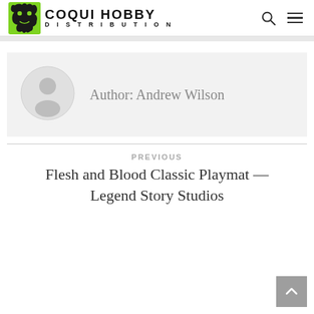[Figure (logo): Coqui Hobby Distribution logo: green square with abstract frog figure in black, beside bold text 'COQUI HOBBY' and 'DISTRIBUTION' in spaced letters]
Author: Andrew Wilson
PREVIOUS
Flesh and Blood Classic Playmat — Legend Story Studios